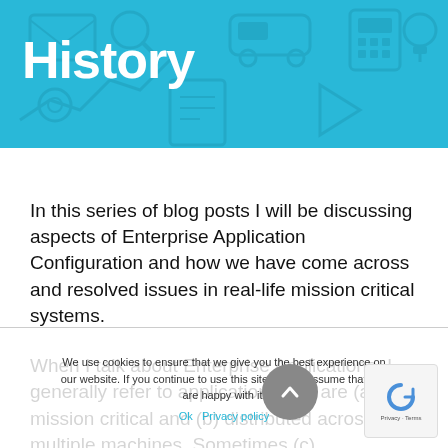History
In this series of blog posts I will be discussing aspects of Enterprise Application Configuration and how we have come across and resolved issues in real-life mission critical systems.
When I talk about Enterprise Applications, I generally refer to applications that are (a) mission critical and (b) distributed across multiple machines.  Sometimes (c) geographically dispersed across different data centres also applies.
We use cookies to ensure that we give you the best experience on our website. If you continue to use this site we will assume that you are happy with it.
Ok   Privacy policy